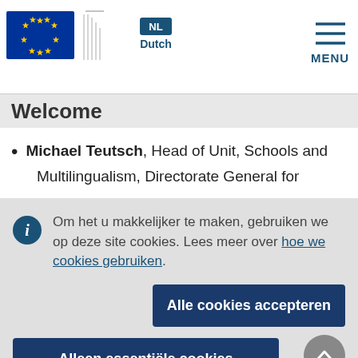[Figure (logo): European Commission logo with EU flag stars and building graphic, plus language selector (NL Dutch) and hamburger MENU]
Welcome
Michael Teutsch, Head of Unit, Schools and Multilingualism, Directorate General for
Om het u makkelijker te maken, gebruiken we op deze site cookies. Lees meer over hoe we cookies gebruiken.
Alle cookies accepteren
Alleen essentiële cookies accepteren